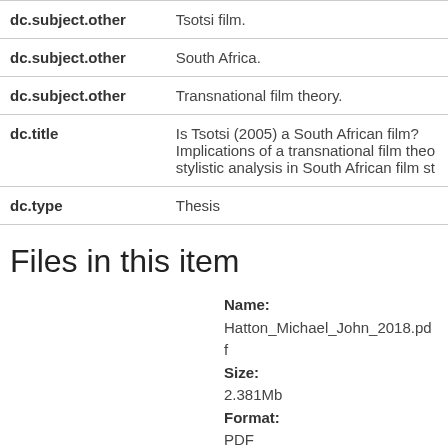| dc.subject.other | Tsotsi film. |
| dc.subject.other | South Africa. |
| dc.subject.other | Transnational film theory. |
| dc.title | Is Tsotsi (2005) a South African film? Implications of a transnational film theory for stylistic analysis in South African film st |
| dc.type | Thesis |
Files in this item
Name: Hatton_Michael_John_2018.pdf Size: 2.381Mb Format: PDF